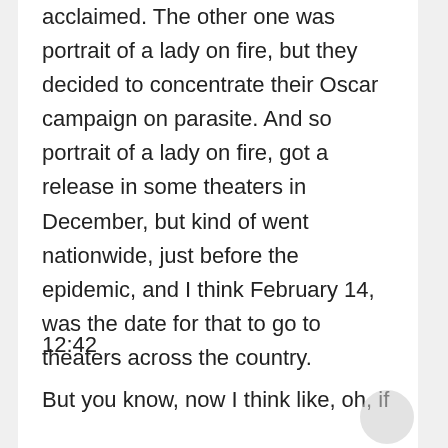acclaimed. The other one was portrait of a lady on fire, but they decided to concentrate their Oscar campaign on parasite. And so portrait of a lady on fire, got a release in some theaters in December, but kind of went nationwide, just before the epidemic, and I think February 14, was the date for that to go to theaters across the country.
12:42
But you know, now I think like, oh, if